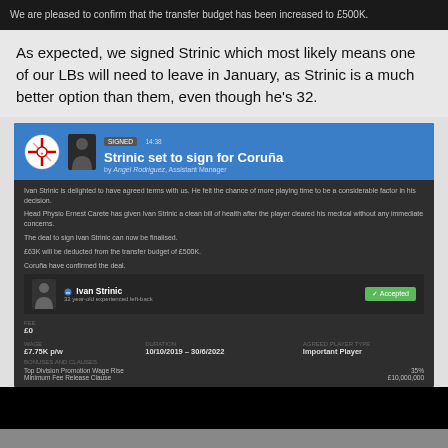We are pleased to confirm that the transfer budget has been increased to £500K.
As expected, we signed Strinic which most likely means one of our LBs will need to leave in January, as Strinic is a much better option than them, even though he's 32.
[Figure (screenshot): Football Manager game screenshot showing 'Strinic set to sign for Coruña' news panel with contract details: Ivan Strinic, 32-year-old experienced left-back, Fee £0, Wage £7.75K p/w, Duration 10/10/2019 - 30/6/2022, Agreed Player Type: Important Player, Bonuses and Clauses: Top Division Promotion Wage Rise 35%, Minimum Fee Release Clause £10,000,000]